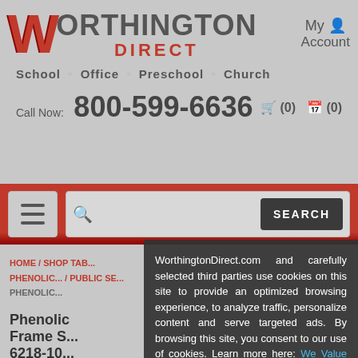[Figure (logo): Worthington Direct logo with red W and gray text]
My Account
School • Office • Preschool • Church
Call Now: 800-599-6636
(0)  (0)
[Figure (screenshot): Navigation bar with hamburger menu button and search box with SEARCH button]
HOME / SHOP TAB... / PHENOLIC... / PUBLIC SE... / PHENOLIC...
Phenolic Frame S... 6218-10...
WorthingtonDirect.com and carefully selected third parties use cookies on this site to provide an optimized browsing experience, to analyze traffic, personalize content and serve targeted ads. By browsing this site, you consent to our use of cookies. Learn more here: We Value Your Privacy.
I Accept